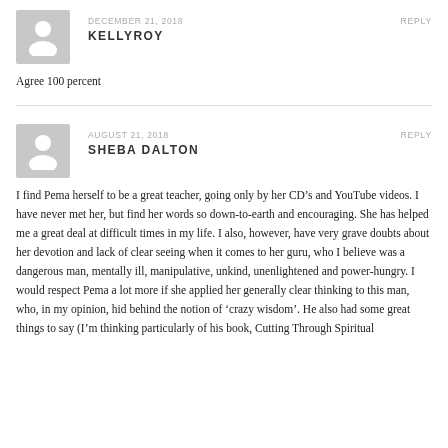DECEMBER 21, 2018
KELLYROY
REPLY
Agree 100 percent
AUGUST 21, 2018
SHEBA DALTON
REPLY
I find Pema herself to be a great teacher, going only by her CD’s and YouTube videos. I have never met her, but find her words so down-to-earth and encouraging. She has helped me a great deal at difficult times in my life. I also, however, have very grave doubts about her devotion and lack of clear seeing when it comes to her guru, who I believe was a dangerous man, mentally ill, manipulative, unkind, unenlightened and power-hungry. I would respect Pema a lot more if she applied her generally clear thinking to this man, who, in my opinion, hid behind the notion of ‘crazy wisdom’. He also had some great things to say (I’m thinking particularly of his book, Cutting Through Spiritual